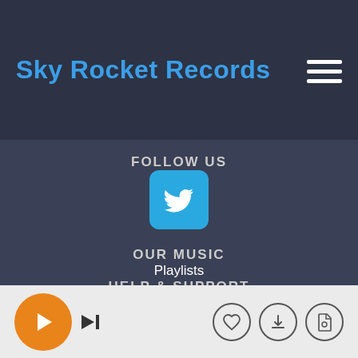Sky Rocket Records
FOLLOW US
[Figure (logo): Twitter bird logo icon on blue rounded square background]
OUR MUSIC
Playlists
HELP & SUPPORT
Pricing
Help
[Figure (infographic): Music player bar with play button, skip button, heart, download, and cart icons]